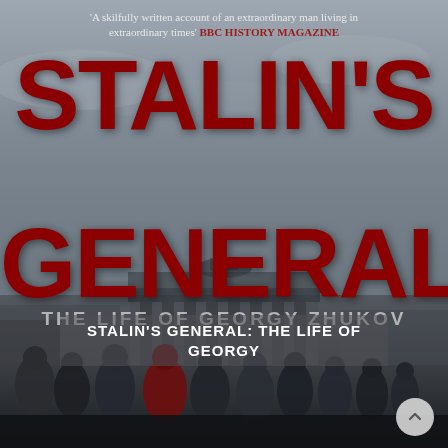[Figure (illustration): Book cover of Stalin's General: The Life of Georgy Zhukov. Dark grey cloudy sky background with large bold dark red title text 'STALIN'S GENERAL' and subtitle 'THE LIFE OF GEORGY ZHUKOV'. Bottom half shows a black and white photograph of military generals in uniform walking, with one figure in red/colored uniform at center. A pullquote at top reads 'A skilfully written account of an extraordinary man living in extraordinary times' BBC HISTORY MAGAZINE. An overlaid white text banner reads 'STALIN'S GENERAL: THE LIFE OF GEORGY'.]
STALIN'S GENERAL: THE LIFE OF GEORGY